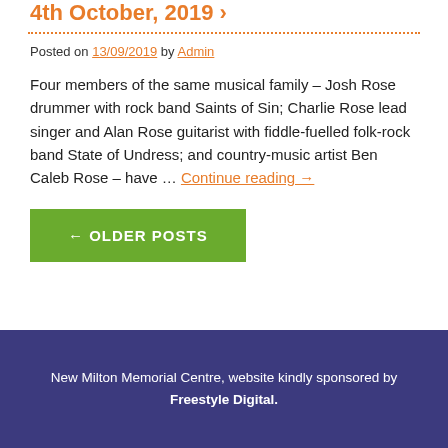4th October, 2019 ›
Posted on 13/09/2019 by Admin
Four members of the same musical family – Josh Rose drummer with rock band Saints of Sin; Charlie Rose lead singer and Alan Rose guitarist with fiddle-fuelled folk-rock band State of Undress; and country-music artist Ben Caleb Rose – have … Continue reading →
← OLDER POSTS
New Milton Memorial Centre, website kindly sponsored by Freestyle Digital.